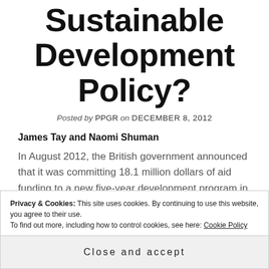Sustainable Development Policy?
Posted by PPGR on DECEMBER 8, 2012
James Tay and Naomi Shuman
In August 2012, the British government announced that it was committing 18.1 million dollars of aid funding to a new five-year development program in northern Ghana, one of the poorest regions in West
Privacy & Cookies: This site uses cookies. By continuing to use this website, you agree to their use.
To find out more, including how to control cookies, see here: Cookie Policy
Close and accept